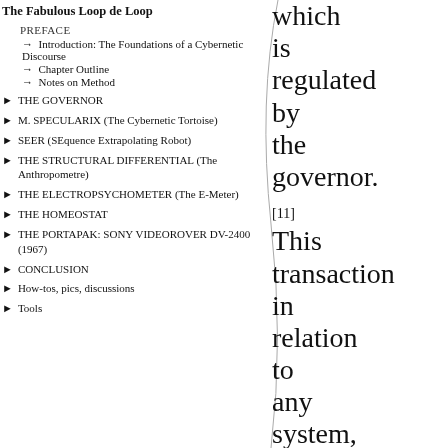The Fabulous Loop de Loop
PREFACE
→ Introduction: The Foundations of a Cybernetic Discourse
→ Chapter Outline
→ Notes on Method
THE GOVERNOR
M. SPECULARIX (The Cybernetic Tortoise)
SEER (SEquence Extrapolating Robot)
THE STRUCTURAL DIFFERENTIAL (The Anthropometre)
THE ELECTROPSYCHOMETER (The E-Meter)
THE HOMEOSTAT
THE PORTAPAK: SONY VIDEOROVER DV-2400 (1967)
CONCLUSION
How-tos, pics, discussions
Tools
by which is regulated by the governor. [11] This transaction in relation to any system, might be understood